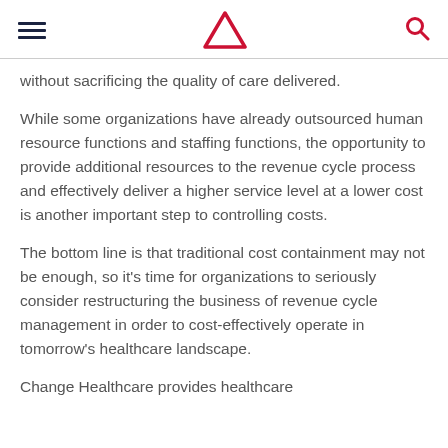[Navigation header with hamburger menu, triangle logo, and search icon]
without sacrificing the quality of care delivered.
While some organizations have already outsourced human resource functions and staffing functions, the opportunity to provide additional resources to the revenue cycle process and effectively deliver a higher service level at a lower cost is another important step to controlling costs.
The bottom line is that traditional cost containment may not be enough, so it’s time for organizations to seriously consider restructuring the business of revenue cycle management in order to cost-effectively operate in tomorrow’s healthcare landscape.
Change Healthcare provides healthcare